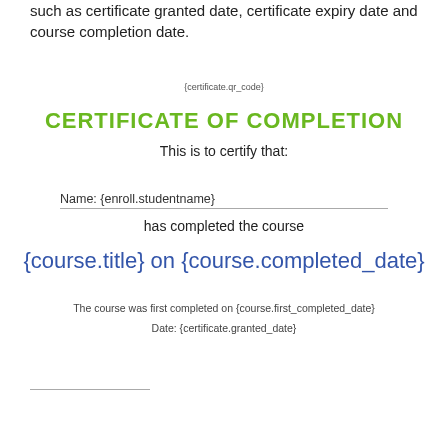such as certificate granted date, certificate expiry date and course completion date.
{certificate.qr_code}
CERTIFICATE OF COMPLETION
This is to certify that:
Name: {enroll.studentname}
has completed the course
{course.title} on {course.completed_date}
The course was first completed on {course.first_completed_date}
Date: {certificate.granted_date}